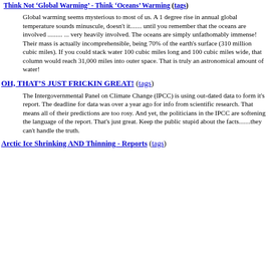Think Not 'Global Warming' - Think 'Oceans' Warming (tags)
Global warming seems mysterious to most of us. A 1 degree rise in annual global temperature sounds minuscule, doesn't it....... until you remember that the oceans are involved ......... ... very heavily involved. The oceans are simply unfathomably immense! Their mass is actually incomprehensible, being 70% of the earth's surface (310 million cubic miles). If you could stack water 100 cubic miles long and 100 cubic miles wide, that column would reach 31,000 miles into outer space. That is truly an astronomical amount of water!
OH, THAT'S JUST FRICKIN GREAT! (tags)
The Intergovernmental Panel on Climate Change (IPCC) is using out-dated data to form it's report. The deadline for data was over a year ago for info from scientific research. That means all of their predictions are too rosy. And yet, the politicians in the IPCC are softening the language of the report. That's just great. Keep the public stupid about the facts.......they can't handle the truth.
Arctic Ice Shrinking AND Thinning - Reports (tags)